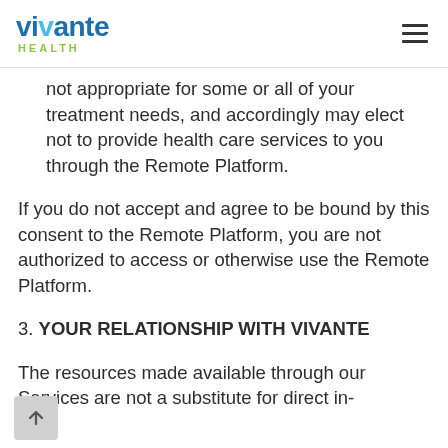Vivante Health
not appropriate for some or all of your treatment needs, and accordingly may elect not to provide health care services to you through the Remote Platform.
If you do not accept and agree to be bound by this consent to the Remote Platform, you are not authorized to access or otherwise use the Remote Platform.
3. YOUR RELATIONSHIP WITH VIVANTE
The resources made available through our Services are not a substitute for direct in-